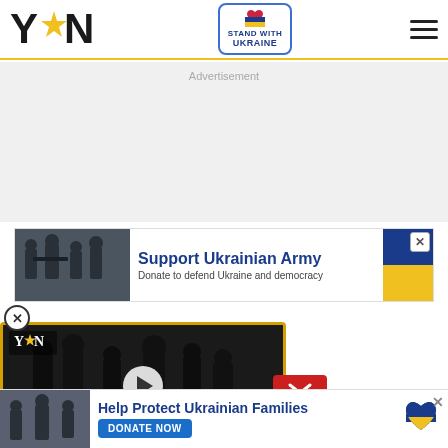[Figure (logo): YEN logo with yellow star replacing E]
[Figure (logo): Stand With Ukraine heart badge with blue border]
[Figure (other): Hamburger menu icon (three horizontal lines)]
Advertisement
[Figure (photo): Support Ukrainian Army advertisement banner with soldiers and Ukrainian flag colors]
[Figure (other): Circle X close button]
[Figure (photo): YEN news video player showing soldiers with caption: GHANA NTI: BRING BACK OUR TADI GIRLS]
[Figure (other): Red minimize/chevron-down button]
[Figure (photo): Help Protect Ukrainian Families bottom advertisement banner with DONATE NOW button]